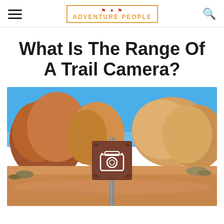ADVENTURE PEOPLE
What Is The Range Of A Trail Camera?
[Figure (photo): A desert landscape with red and tan sandstone rock formations under a bright blue sky. In the foreground, a wooden trail sign post with a white camera icon is mounted on a metal pole, planted in orange sandy ground with sparse desert shrubs.]